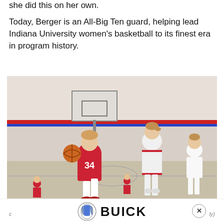she did this on her own.
Today, Berger is an All-Big Ten guard, helping lead Indiana University women's basketball to its finest era in program history.
[Figure (photo): A young girl in a red jersey numbered 34 dribbling a basketball during a youth basketball game inside a gym. Defenders in white and red uniforms are nearby. Other players visible in the background.]
c
[Figure (logo): Buick logo with shield emblem and the word BUICK in large bold text]
ly)